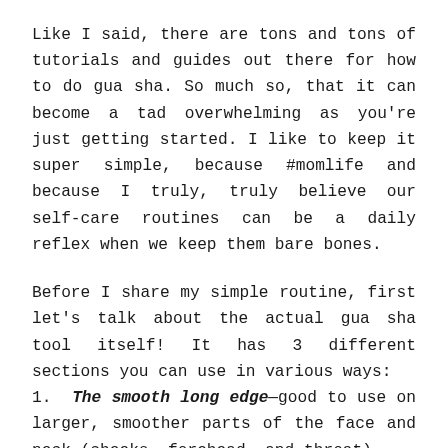Like I said, there are tons and tons of tutorials and guides out there for how to do gua sha. So much so, that it can become a tad overwhelming as you're just getting started. I like to keep it super simple, because #momlife and because I truly, truly believe our self-care routines can be a daily reflex when we keep them bare bones.
Before I share my simple routine, first let's talk about the actual gua sha tool itself! It has 3 different sections you can use in various ways:
1. The smooth long edge—good to use on larger, smoother parts of the face and neck (cheeks, forehead, and throat).